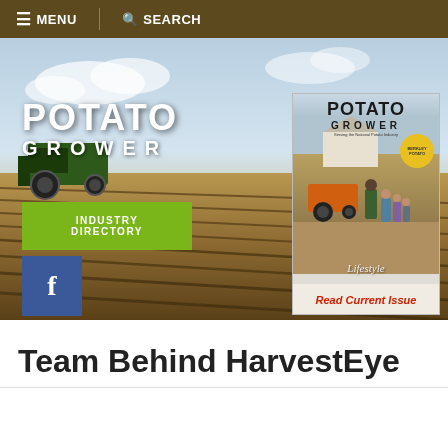≡ MENU   🔍 SEARCH
[Figure (screenshot): Potato Grower magazine website hero banner showing a farm field with tractor, POTATO GROWER logo overlay, Industry Directory button, Facebook icon, and a magazine cover with Read Current Issue link.]
Team Behind HarvestEye